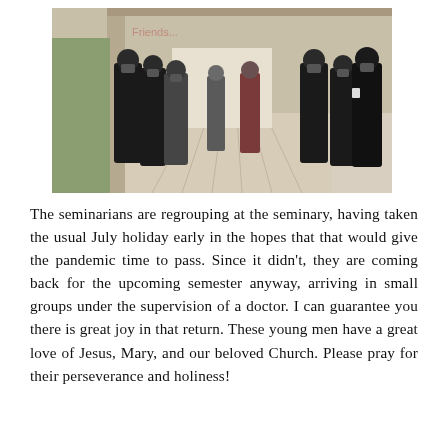[Figure (photo): A group of seminarians wearing black robes and face masks standing in two lines along the sides of a corridor with light wood flooring, in an outdoor covered walkway. A man in casual clothes is visible in the background.]
The seminarians are regrouping at the seminary, having taken the usual July holiday early in the hopes that that would give the pandemic time to pass. Since it didn't, they are coming back for the upcoming semester anyway, arriving in small groups under the supervision of a doctor. I can guarantee you there is great joy in that return. These young men have a great love of Jesus, Mary, and our beloved Church. Please pray for their perseverance and holiness!